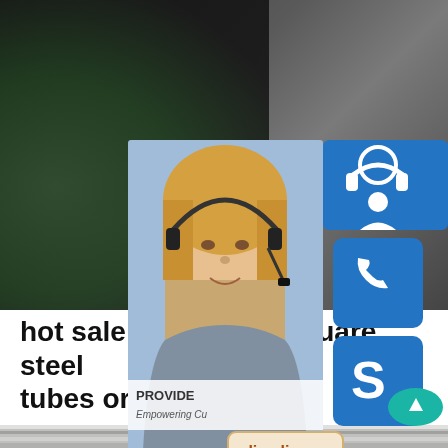[Figure (photo): Dark background with blurred foliage and customer service representative photo, with 24/7 contact icons (headset, phone, Skype) and online live button overlaid on the right side]
hot sale galvanized square steel tubes or pipes
[Figure (photo): Close-up of galvanized square steel tubes or pipes at the bottom of the page]